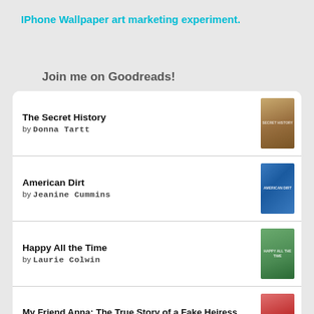IPhone Wallpaper art marketing experiment.
Join me on Goodreads!
The Secret History by Donna Tartt
American Dirt by Jeanine Cummins
Happy All the Time by Laurie Colwin
My Friend Anna: The True Story of a Fake Heiress by Rachel DeLoache Williams
Liar, Temptress, Soldier, Spy: Four Women